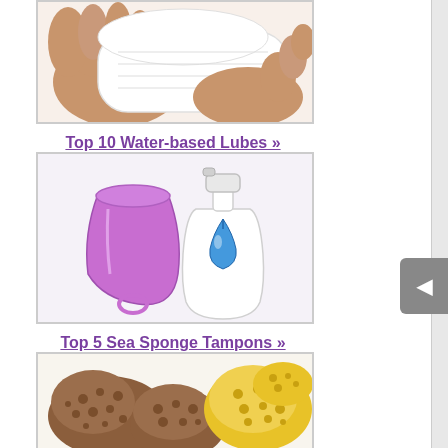[Figure (photo): Hands holding a white menstrual pad]
Top 10 Water-based Lubes »
[Figure (photo): Purple menstrual cup and white pump bottle with blue water drop for water-based lubricant]
Top 5 Sea Sponge Tampons »
[Figure (photo): Brown and yellow natural sea sponge tampons]